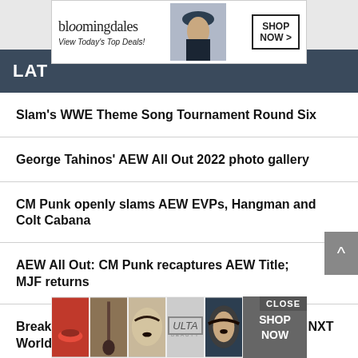[Figure (screenshot): Bloomingdale's advertisement banner: logo text, 'View Today's Top Deals!', woman in hat, SHOP NOW button]
LAT
Slam's WWE Theme Song Tournament Round Six
George Tahinos' AEW All Out 2022 photo gallery
CM Punk openly slams AEW EVPs, Hangman and Colt Cabana
AEW All Out: CM Punk recaptures AEW Title; MJF returns
Breakker, Bate battle to unify championships at NXT Worlds Collide
The litt
[Figure (screenshot): ULTA beauty advertisement banner showing makeup product images and SHOP NOW button with CLOSE label]